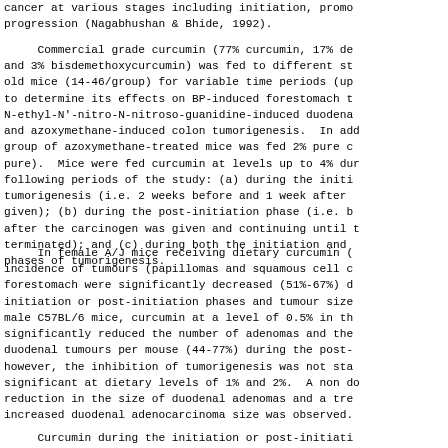cancer at various stages including initiation, promo progression (Nagabhushan & Bhide, 1992).
Commercial grade curcumin (77% curcumin, 17% de and 3% bisdemethoxycurcumin) was fed to different st old mice (14-46/group) for variable time periods (up to determine its effects on BP-induced forestomach t N-ethyl-N'-nitro-N-nitroso-guanidine-induced duodena and azoxymethane-induced colon tumorigenesis. In add group of azoxymethane-treated mice was fed 2% pure c pure). Mice were fed curcumin at levels up to 4% dur following periods of the study: (a) during the initi tumorigenesis (i.e. 2 weeks before and 1 week after given); (b) during the post-initiation phase (i.e. b after the carcinogen was given and continuing until t terminated); and (c) during both the initiation and phases of tumorigenesis.
In female A/J mice receiving dietary curcumin ( incidence of tumours (papillomas and squamous cell c forestomach were significantly decreased (51%-67%) d initiation or post-initiation phases and tumour size male C57BL/6 mice, curcumin at a level of 0.5% in th significantly reduced the number of adenomas and the duodenal tumours per mouse (44-77%) during the post- however, the inhibition of tumorigenesis was not sta significant at dietary levels of 1% and 2%. A non do reduction in the size of duodenal adenomas and a tre increased duodenal adenocarcinoma size was observed.
Curcumin during the initiation or post-initiati